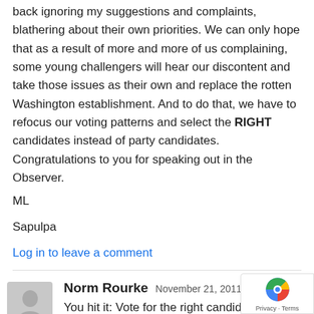back ignoring my suggestions and complaints, blathering about their own priorities. We can only hope that as a result of more and more of us complaining, some young challengers will hear our discontent and take those issues as their own and replace the rotten Washington establishment. And to do that, we have to refocus our voting patterns and select the RIGHT candidates instead of party candidates. Congratulations to you for speaking out in the Observer.
ML
Sapulpa
Log in to leave a comment
Norm Rourke November 21, 2011 At 10:46 am
You hit it: Vote for the right candidate, not the party. We've seen how little these two parties accomplished for the benefit of this country and its